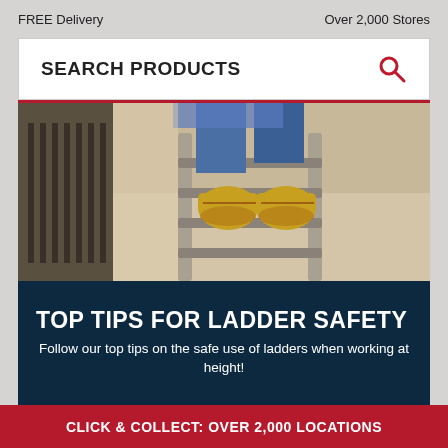FREE Delivery    Over 2,000 Stores
SEARCH PRODUCTS
[Figure (photo): Close-up photo of a person climbing a metal ladder, wearing work gloves and jeans, yellow boots visible on rungs]
TOP TIPS FOR LADDER SAFETY
Follow our top tips on the safe use of ladders when working at height!
CLICK & COLLECT: OVER 2,000 LOCATIONS